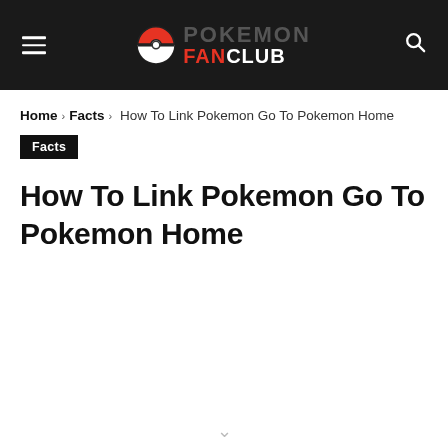Pokemon Fan Club — site header with logo, hamburger menu, and search icon
Home › Facts › How To Link Pokemon Go To Pokemon Home
Facts
How To Link Pokemon Go To Pokemon Home